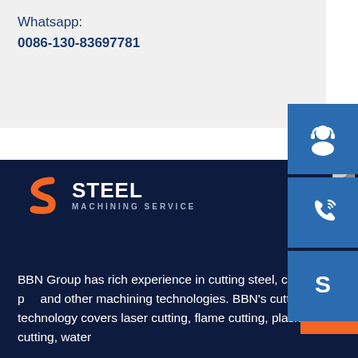Whatsapp:
0086-130-83697781
[Figure (illustration): Blue icon box with white customer service/headset person icon]
[Figure (illustration): Blue icon box with white phone/call icon with signal waves]
[Figure (illustration): Blue icon box with white Skype logo icon]
[Figure (logo): S Steel Machining Service logo - orange S symbol with white STEEL text and grey MACHINING SERVICE text]
BBN Group has rich experience in cutting steel, cutting p... and other machining technologies. BBN's cutting technology covers laser cutting, flame cutting, plasma cutting, water